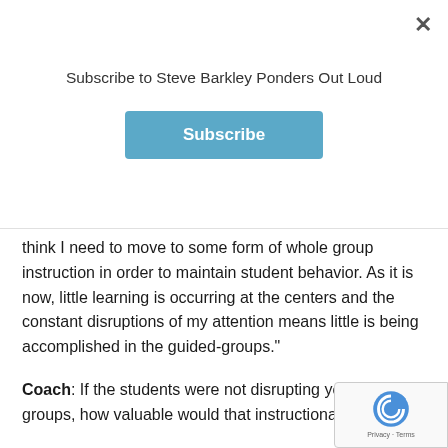Subscribe to Steve Barkley Ponders Out Loud
think I need to move to some form of whole group instruction in order to maintain student behavior. As it is now, little learning is occurring at the centers and the constant disruptions of my attention means little is being accomplished in the guided-groups."
Coach: If the students were not disrupting your guided groups, how valuable would that instructional time be?
Teacher: It is critical, as the reading levels are very disparate, and I need the small group time to assess and instruct for those differing needs.
Coach: So, it sounds like changing students' learning